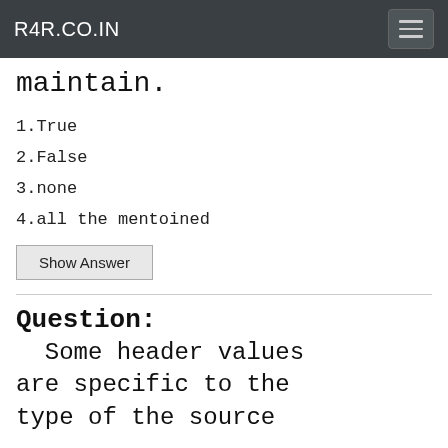R4R.CO.IN
maintain.
1.True
2.False
3.none
4.all the mentoined
Show Answer
Question:
Some header values are specific to the type of the source